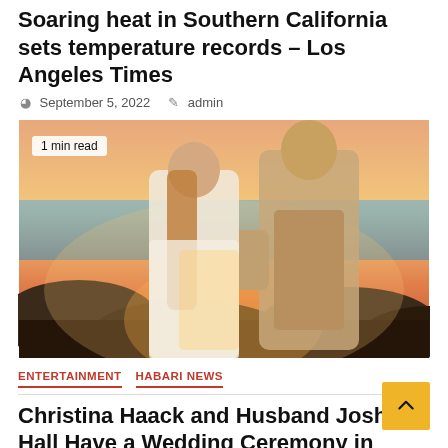Soaring heat in Southern California sets temperature records – Los Angeles Times
September 5, 2022   admin
[Figure (photo): A couple embracing on a rocky beach at sunset. The woman wears a white lace dress and the man wears a tan/beige suit. A badge reading '1 min read' is overlaid in the top-left corner.]
ENTERTAINMENT   HABARI NEWS
Christina Haack and Husband Josh Hall Have a Wedding Ceremony in Hawaii – E! NEWS